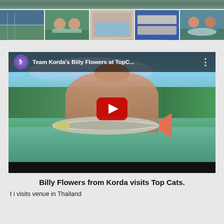[Figure (photo): Partial top strip of photos showing fishing lake and people]
[Figure (photo): Row of five thumbnail photos showing fishing lake, anglers holding large catfish, indoor room, fishing equipment on blue surface, and two men holding large catfish]
[Figure (photo): YouTube video embed thumbnail: Team Korda's Billy Flowers at TopC... - man standing in lake holding large catfish with red play button overlay]
Billy Flowers from Korda visits Top Cats.
...visits venue in Thailand...